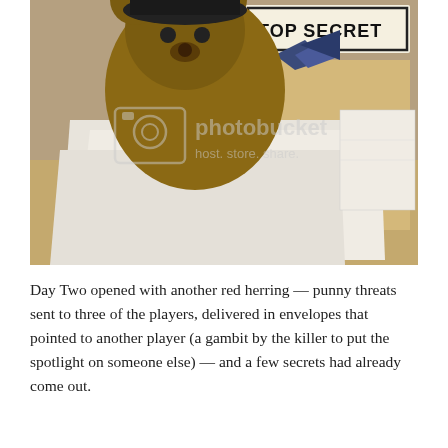[Figure (photo): A stuffed animal bear wearing a dark hat and blue bow tie, leaning over a manila folder labeled 'TOP SECRET' with papers and envelopes scattered on a table. Photobucket watermark overlay visible.]
Day Two opened with another red herring — punny threats sent to three of the players, delivered in envelopes that pointed to another player (a gambit by the killer to put the spotlight on someone else) — and a few secrets had already come out.